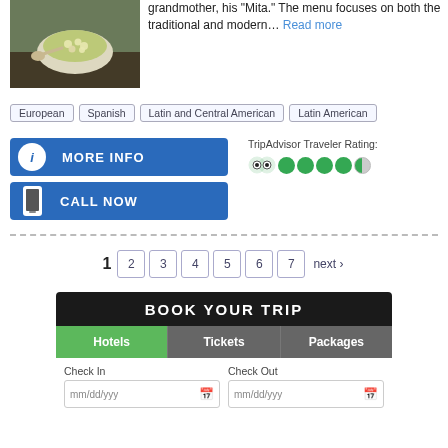[Figure (photo): Bowl of soup or stew with vegetables and beans on a dark table with a spoon]
grandmother, his "Mita." The menu focuses on both the traditional and modern... Read more
European
Spanish
Latin and Central American
Latin American
MORE INFO
CALL NOW
TripAdvisor Traveler Rating:
1 2 3 4 5 6 7 next ›
BOOK YOUR TRIP
Hotels  Tickets  Packages
Check In mm/dd/yyy  Check Out mm/dd/yyy